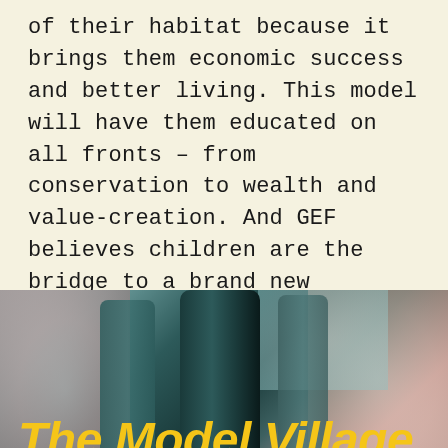of their habitat because it brings them economic success and better living. This model will have them educated on all fronts – from conservation to wealth and value-creation. And GEF believes children are the bridge to a brand new sunrise!
[Figure (photo): Blurred forest/tree photograph with teal, pink and brown tones, with large bold yellow italic text overlay reading 'The Model Village Extraordinaire' and a dark strip at the bottom]
The Model Village Extraordinaire